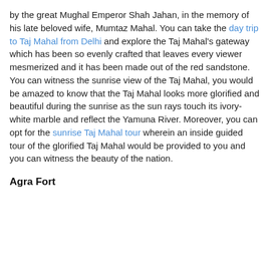by the great Mughal Emperor Shah Jahan, in the memory of his late beloved wife, Mumtaz Mahal. You can take the day trip to Taj Mahal from Delhi and explore the Taj Mahal's gateway which has been so evenly crafted that leaves every viewer mesmerized and it has been made out of the red sandstone. You can witness the sunrise view of the Taj Mahal, you would be amazed to know that the Taj Mahal looks more glorified and beautiful during the sunrise as the sun rays touch its ivory-white marble and reflect the Yamuna River. Moreover, you can opt for the sunrise Taj Mahal tour wherein an inside guided tour of the glorified Taj Mahal would be provided to you and you can witness the beauty of the nation.
Agra Fort